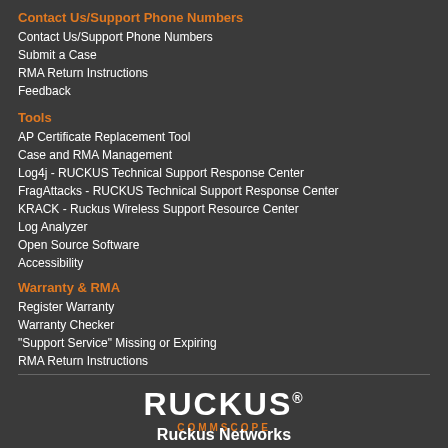Contact Us/Support Phone Numbers
Contact Us/Support Phone Numbers
Submit a Case
RMA Return Instructions
Feedback
Tools
AP Certificate Replacement Tool
Case and RMA Management
Log4j - RUCKUS Technical Support Response Center
FragAttacks - RUCKUS Technical Support Response Center
KRACK - Ruckus Wireless Support Resource Center
Log Analyzer
Open Source Software
Accessibility
Warranty & RMA
Register Warranty
Warranty Checker
"Support Service" Missing or Expiring
RMA Return Instructions
[Figure (logo): RUCKUS COMMSCOPE logo with white RUCKUS text and orange COMMSCOPE text]
Ruckus Networks